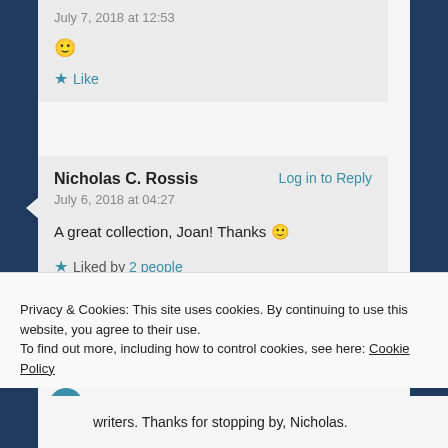July 7, 2018 at 12:53
🙂
★ Like
Nicholas C. Rossis
Log in to Reply
July 6, 2018 at 04:27
A great collection, Joan! Thanks 🙂
★ Liked by 2 people
Privacy & Cookies: This site uses cookies. By continuing to use this website, you agree to their use.
To find out more, including how to control cookies, see here: Cookie Policy
Close and accept
writers. Thanks for stopping by, Nicholas.